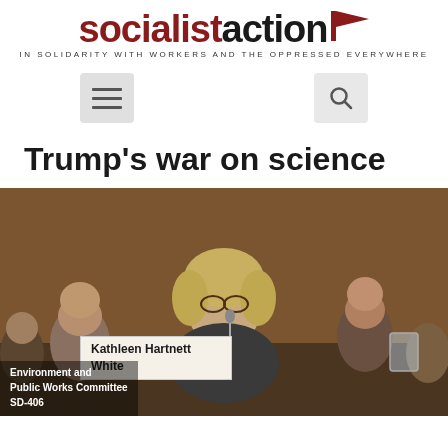socialistaction — IN SOLIDARITY WITH WORKERS AND THE OPPRESSED EVERYWHERE
Trump’s war on science
[Figure (photo): Woman with blonde hair and glasses sitting at a Senate hearing table. A nameplate reads 'Kathleen Hartnett White'. The overlay text shows 'Environment and Public Works Committee SD-406'.]